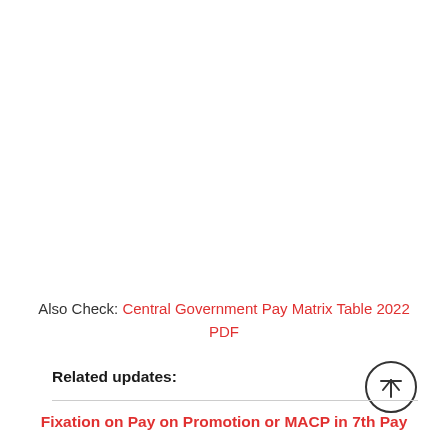Also Check: Central Government Pay Matrix Table 2022 PDF
Related updates:
Fixation on Pay on Promotion or MACP in 7th Pay